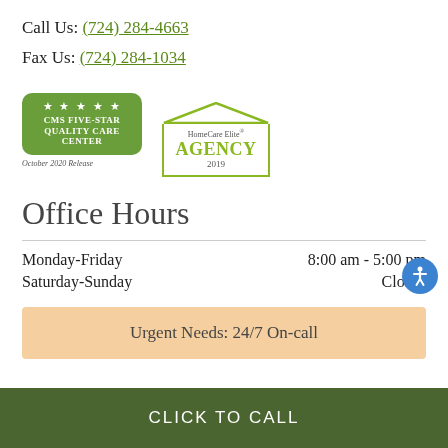Call Us: (724) 284-4663
Fax Us: (724) 284-1034
[Figure (logo): CMS Five-Star Quality Care Center badge (green rounded rectangle) and HomeCare Elite Agency 2019 badge (green house outline)]
Office Hours
Monday-Friday    8:00 am - 5:00 pm
Saturday-Sunday    Closed
Urgent Needs: 24/7 On-call
CLICK TO CALL